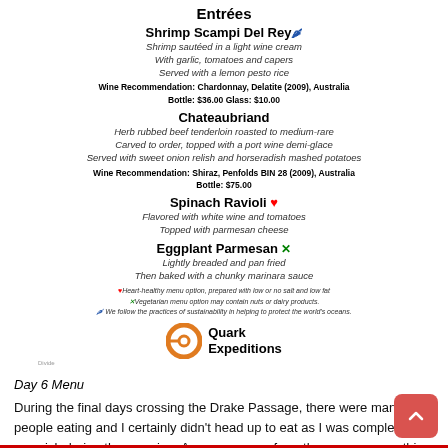Entrées
Shrimp Scampi Del Rey 🐟
Shrimp sautéed in a light wine cream
With garlic, tomatoes and capers
Served with a lemon pesto rice
Wine Recommendation: Chardonnay, Delatite (2009), Australia
Bottle: $36.00 Glass: $10.00
Chateaubriand
Herb rubbed beef tenderloin roasted to medium-rare
Carved to order, topped with a port wine demi-glace
Served with sweet onion relish and horseradish mashed potatoes
Wine Recommendation: Shiraz, Penfolds BIN 28 (2009), Australia
Bottle: $75.00
Spinach Ravioli ♥
Flavored with white wine and tomatoes
Topped with parmesan cheese
Eggplant Parmesan ✕
Lightly breaded and pan fried
Then baked with a chunky marinara sauce
♥Heart-healthy menu option, prepared with low or no salt and low fat.
✕Vegetarian menu option may contain nuts or dairy products.
🐟 We follow the practices of sustainability in helping to protect the world's oceans.
[Figure (logo): Quark Expeditions logo with orange ring and company name]
Divide
Day 6 Menu
During the final days crossing the Drake Passage, there were many people eating and I certainly didn't head up to eat as I was completely sea sick during the crossing. As you can see from the menus, everything was well labelled and they did their absolute best to ensure